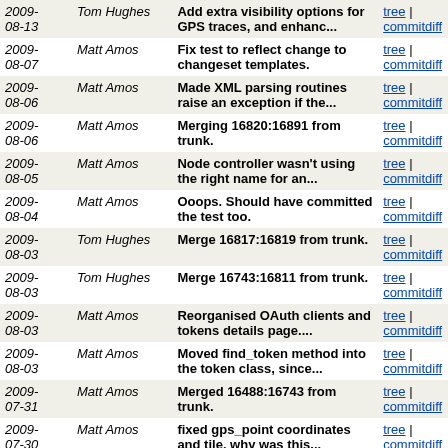| Date | Author | Message | Links |
| --- | --- | --- | --- |
| 2009-08-13 | Tom Hughes | Add extra visibility options for GPS traces, and enhanc... | tree | commitdiff |
| 2009-08-07 | Matt Amos | Fix test to reflect change to changeset templates. | tree | commitdiff |
| 2009-08-06 | Matt Amos | Made XML parsing routines raise an exception if the... | tree | commitdiff |
| 2009-08-06 | Matt Amos | Merging 16820:16891 from trunk. | tree | commitdiff |
| 2009-08-05 | Matt Amos | Node controller wasn't using the right name for an... | tree | commitdiff |
| 2009-08-04 | Matt Amos | Ooops. Should have committed the test too. | tree | commitdiff |
| 2009-08-03 | Tom Hughes | Merge 16817:16819 from trunk. | tree | commitdiff |
| 2009-08-03 | Tom Hughes | Merge 16743:16811 from trunk. | tree | commitdiff |
| 2009-08-03 | Matt Amos | Reorganised OAuth clients and tokens details page.... | tree | commitdiff |
| 2009-08-03 | Matt Amos | Moved find_token method into the token class, since... | tree | commitdiff |
| 2009-07-31 | Matt Amos | Merged 16488:16743 from trunk. | tree | commitdiff |
| 2009-07-30 | Matt Amos | fixed gps_point coordinates and tile. why was this... | tree | commitdiff |
| 2009-07-27 | Matt Amos | Fix compatibility with older versions of the ruby std... | tree | commitdiff |
| 2009- | Matt Amos | Added methods to strip those | tree | commitdiff |